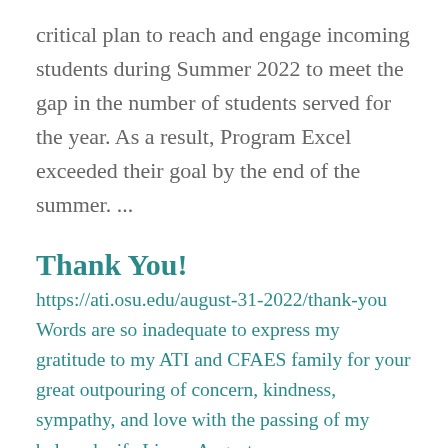critical plan to reach and engage incoming students during Summer 2022 to meet the gap in the number of students served for the year. As a result, Program Excel exceeded their goal by the end of the summer. ...
Thank You!
https://ati.osu.edu/august-31-2022/thank-you
Words are so inadequate to express my gratitude to my ATI and CFAES family for your great outpouring of concern, kindness, sympathy, and love with the passing of my beloved wife Liz on August